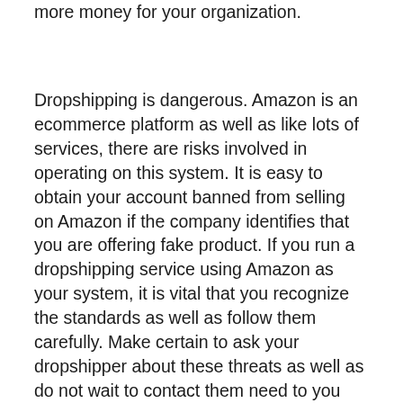more money for your organization.
Dropshipping is dangerous. Amazon is an ecommerce platform as well as like lots of services, there are risks involved in operating on this system. It is easy to obtain your account banned from selling on Amazon if the company identifies that you are offering fake product. If you run a dropshipping service using Amazon as your system, it is vital that you recognize the standards as well as follow them carefully. Make certain to ask your dropshipper about these threats as well as do not wait to contact them need to you decide that you can not wage the sale.